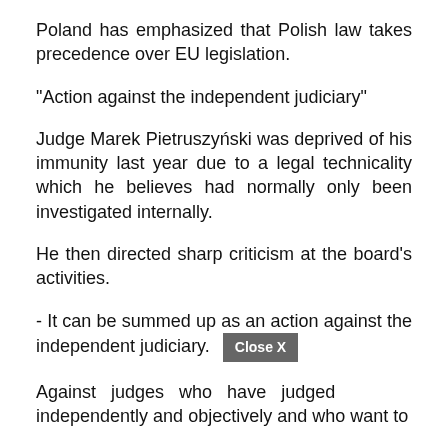Poland has emphasized that Polish law takes precedence over EU legislation.
"Action against the independent judiciary"
Judge Marek Pietruszyński was deprived of his immunity last year due to a legal technicality which he believes had normally only been investigated internally.
He then directed sharp criticism at the board's activities.
- It can be summed up as an action against the independent judiciary.
Against judges who have judged independently and objectively and who want to